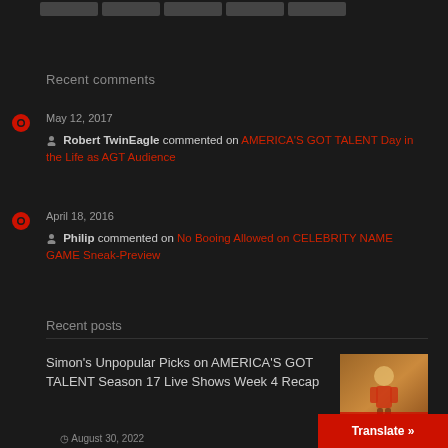[navigation tabs]
Recent comments
May 12, 2017 — Robert TwinEagle commented on AMERICA'S GOT TALENT Day in the Life as AGT Audience
April 18, 2016 — Philip commented on No Booing Allowed on CELEBRITY NAME GAME Sneak-Preview
Recent posts
Simon's Unpopular Picks on AMERICA'S GOT TALENT Season 17 Live Shows Week 4 Recap
August 30, 2022
Translate »